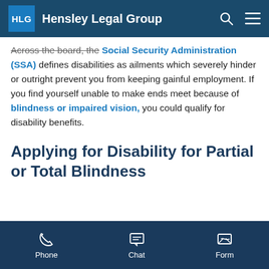Hensley Legal Group
Across the board, the Social Security Administration (SSA) defines disabilities as ailments which severely hinder or outright prevent you from keeping gainful employment. If you find yourself unable to make ends meet because of blindness or impaired vision, you could qualify for disability benefits.
Applying for Disability for Partial or Total Blindness
Phone  Chat  Form